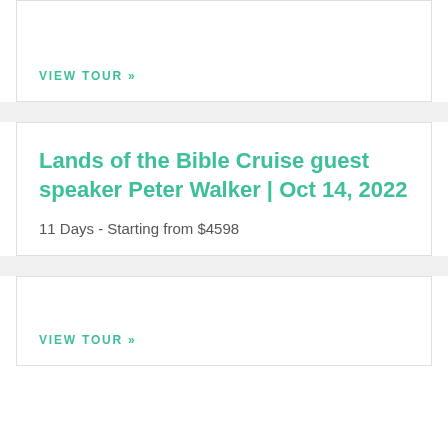VIEW TOUR »
Lands of the Bible Cruise guest speaker Peter Walker | Oct 14, 2022
11 Days - Starting from $4598
VIEW TOUR »